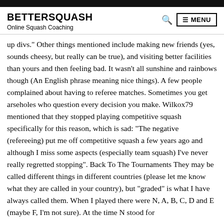BETTERSQUASH | Online Squash Coaching | MENU
up divs." Other things mentioned include making new friends (yes, sounds cheesy, but really can be true), and visiting better facilities than yours and then feeling bad. It wasn't all sunshine and rainbows though (An English phrase meaning nice things). A few people complained about having to referee matches. Sometimes you get arseholes who question every decision you make. Wilkox79 mentioned that they stopped playing competitive squash specifically for this reason, which is sad: “The negative (refereeing) put me off competitive squash a few years ago and although I miss some aspects (especially team squash) I’ve never really regretted stopping”. Back To The Tournaments They may be called different things in different countries (please let me know what they are called in your country), but “graded” is what I have always called them. When I played there were N, A, B, C, D and E (maybe F, I’m not sure). At the time N stood for...